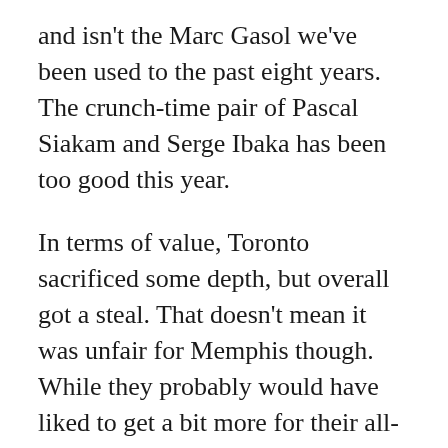and isn't the Marc Gasol we've been used to the past eight years. The crunch-time pair of Pascal Siakam and Serge Ibaka has been too good this year.
In terms of value, Toronto sacrificed some depth, but overall got a steal. That doesn't mean it was unfair for Memphis though. While they probably would have liked to get a bit more for their all-time franchise guy, the haul from Toronto was good. Delon Wright will get big minutes, and figures to be their starter heading into next season, as it would only make sense for Mike Conley to be traded after the moves made Thursday. CJ Miles is